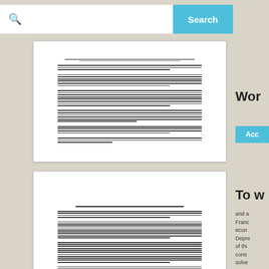[Figure (screenshot): Search bar with magnifying glass icon and teal Search button on white background]
[Figure (screenshot): Thumbnail of a text document page with dense paragraph text]
Wor
[Figure (screenshot): Button labeled Acc (Accept/Access) in teal]
To w
and a France econc Depre of this cons solve
Wor
[Figure (screenshot): Button labeled Acc (Accept/Access) in teal]
[Figure (screenshot): Thumbnail of a longer dense text document page]
[Figure (screenshot): Thumbnail of a document page titled 'What was the impact of the other 4 Paris Peace Treaties?' with Treaty of St Germain section]
Wha
Sever